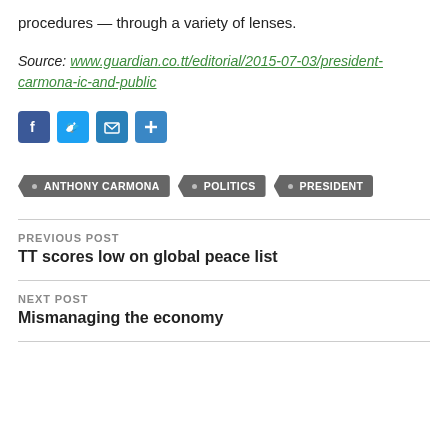procedures — through a variety of lenses.
Source: www.guardian.co.tt/editorial/2015-07-03/president-carmona-ic-and-public
[Figure (other): Social sharing icons: Facebook, Twitter, Email, Share plus button]
ANTHONY CARMONA
POLITICS
PRESIDENT
PREVIOUS POST
TT scores low on global peace list
NEXT POST
Mismanaging the economy